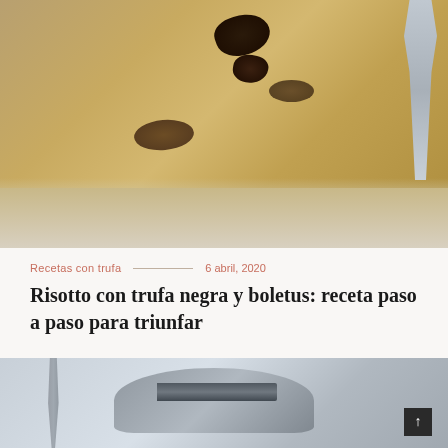[Figure (photo): Close-up photograph of risotto with black truffle slices and mushrooms on a plate, with a spoon visible on the right side]
Recetas con trufa — 6 abril, 2020
Risotto con trufa negra y boletus: receta paso a paso para triunfar
[Figure (photo): Kitchen tools photo showing a corkscrew, a knife, and a dark pan in blue-grey tones]